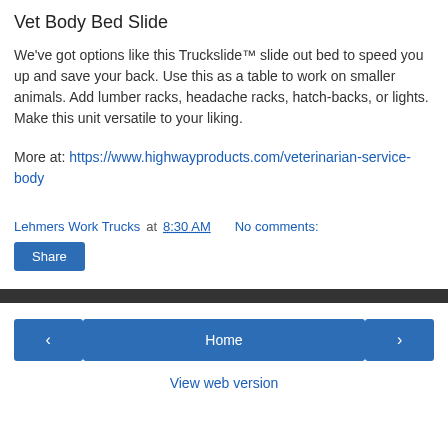Vet Body Bed Slide
We've got options like this Truckslide™ slide out bed to speed you up and save your back. Use this as a table to work on smaller animals. Add lumber racks, headache racks, hatch-backs, or lights. Make this unit versatile to your liking.
More at: https://www.highwayproducts.com/veterinarian-service-body
Lehmers Work Trucks at 8:30 AM   No comments:
Share
Home | View web version